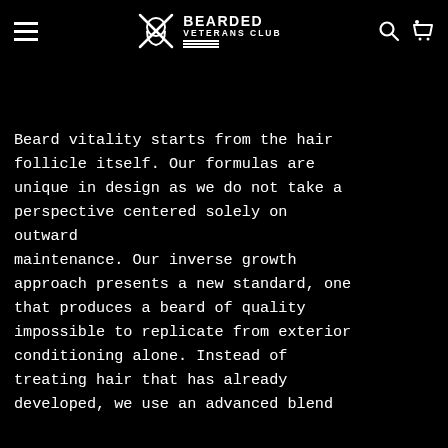BEARDED VETERANS CLUB [hamburger menu, search, cart icons]
Beard vitality starts from the hair follicle itself. Our formulas are unique in design as we do not take a perspective centered solely on outward maintenance. Our inverse growth approach presents a new standard, one that produces a beard of quality impossible to replicate from exterior conditioning alone. Instead of treating hair that has already developed, we use an advanced blend